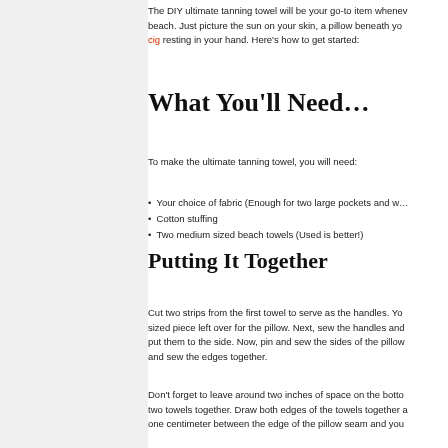The DIY ultimate tanning towel will be your go-to item whenever you head to the beach. Just picture the sun on your skin, a pillow beneath you, and a cig resting in your hand. Here's how to get started:
What You'll Need…
To make the ultimate tanning towel, you will need:
Your choice of fabric (Enough for two large pockets and w…
Cotton stuffing
Two medium sized beach towels (Used is better!)
Putting It Together
Cut two strips from the first towel to serve as the handles. You'll have a good sized piece left over for the pillow. Next, sew the handles and put them to the side. Now, pin and sew the sides of the pillow and sew the edges together.
Don't forget to leave around two inches of space on the bottom to sew the two towels together. Draw both edges of the towels together and leave one centimeter between the edge of the pillow seam and you…